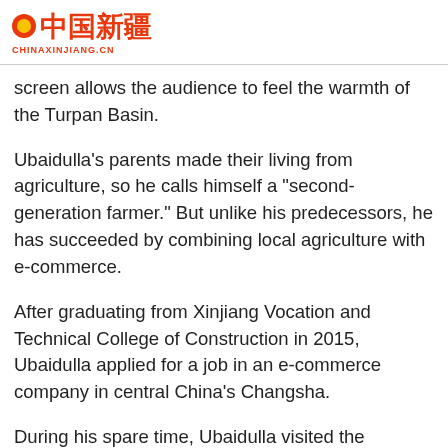CHINAXINJIANG.CN
screen allows the audience to feel the warmth of the Turpan Basin.
Ubaidulla's parents made their living from agriculture, so he calls himself a "second-generation farmer." But unlike his predecessors, he has succeeded by combining local agriculture with e-commerce.
After graduating from Xinjiang Vocation and Technical College of Construction in 2015, Ubaidulla applied for a job in an e-commerce company in central China's Changsha.
During his spare time, Ubaidulla visited the headquarters of China's tech giant Alibaba Group, and audited at Peking University and Zhejiang University to learn about business management.